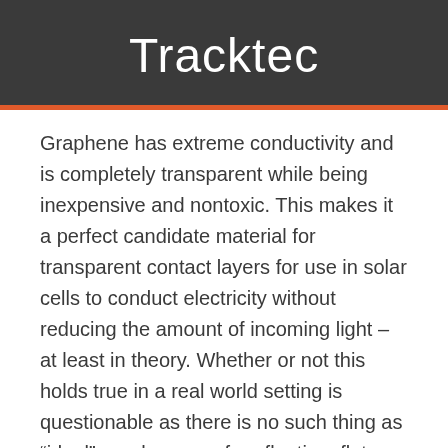Tracktec
Graphene has extreme conductivity and is completely transparent while being inexpensive and nontoxic. This makes it a perfect candidate material for transparent contact layers for use in solar cells to conduct electricity without reducing the amount of incoming light – at least in theory. Whether or not this holds true in a real world setting is questionable as there is no such thing as “ideal” graphene – a free floating, flat honeycomb structure consisting of a single layer of carbon atoms: interactions with adjacent layers can change graphene’s properties dramatically. Now, Dr. Marc Gluba and Prof. Dr. Norbert Nickel of the HZB Institute for Silicon